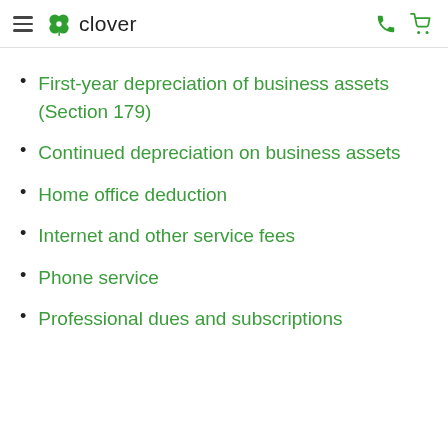clover
First-year depreciation of business assets (Section 179)
Continued depreciation on business assets
Home office deduction
Internet and other service fees
Phone service
Professional dues and subscriptions